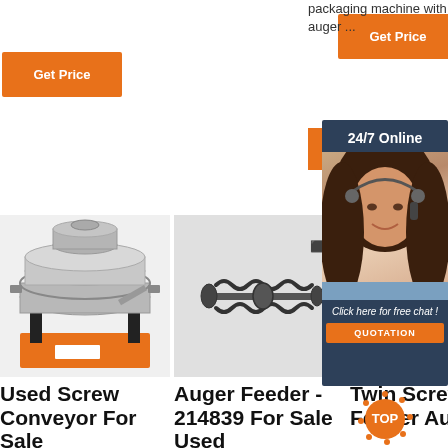[Figure (illustration): Orange 'Get Price' button, top left]
[Figure (illustration): Orange 'Get Price' button, top center]
packaging machine with auger ...
[Figure (illustration): Orange 'Get Price' button, middle right partial]
[Figure (illustration): 24/7 Online chat overlay with woman headset photo, 'Click here for free chat!', QUOTATION button]
[Figure (photo): Industrial sieve/vibrating screen machine on orange stand]
[Figure (photo): Auger screw feeder component on grey background]
Used Screw Conveyor For Sale
Auger Feeder - 214839 For Sale Used
Twin Screw Dual Feeder Auge -